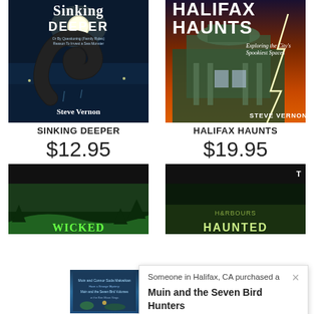[Figure (illustration): Book cover for 'Sinking Deeper' by Steve Vernon. Dark nighttime ocean scene with a large sea monster curving out of water under a full moon.]
[Figure (illustration): Book cover for 'Halifax Haunts: Exploring the City's Spookiest Spaces' by Steve Vernon. Victorian building with lightning against an orange stormy sky.]
SINKING DEEPER
HALIFAX HAUNTS
$12.95
$19.95
[Figure (illustration): Partial book cover for 'Wicked Woods' visible at bottom left.]
[Figure (illustration): Partial book cover for a haunted harbours title visible at bottom right.]
Someone in Halifax, CA purchased a
Muin and the Seven Bird Hunters
3 days ago